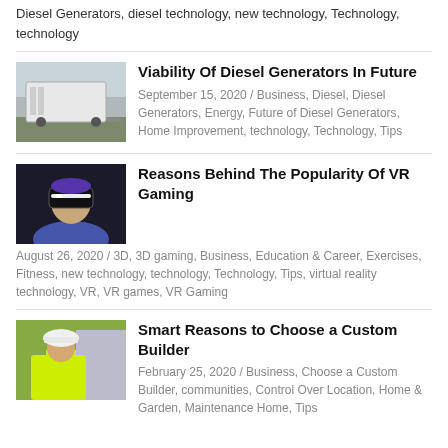Diesel Generators, diesel technology, new technology, Technology, technology
[Figure (photo): White diesel generator on a trailer outdoors]
Viability Of Diesel Generators In Future
September 15, 2020 / Business, Diesel, Diesel Generators, Energy, Future of Diesel Generators, Home Improvement, technology, Technology, Tips
[Figure (photo): Person wearing a VR headset, blue jacket, dark background]
Reasons Behind The Popularity Of VR Gaming
August 26, 2020 / 3D, 3D gaming, Business, Education & Career, Exercises, Fitness, new technology, technology, Technology, Tips, virtual reality technology, VR, VR games, VR Gaming
[Figure (photo): Person in high-visibility jacket holding a white hard hat]
Smart Reasons to Choose a Custom Builder
February 25, 2020 / Business, Choose a Custom Builder, communities, Control Over Location, Home & Garden, Maintenance Home, Tips